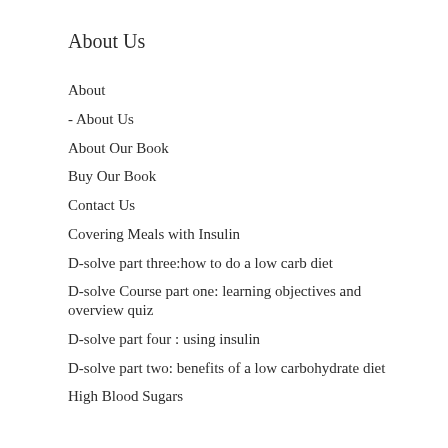About Us
About
- About Us
About Our Book
Buy Our Book
Contact Us
Covering Meals with Insulin
D-solve part three:how to do a low carb diet
D-solve Course part one: learning objectives and overview quiz
D-solve part four : using insulin
D-solve part two: benefits of a low carbohydrate diet
High Blood Sugars